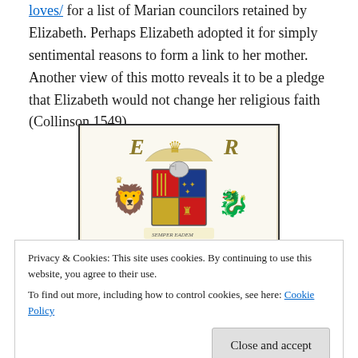loves/ for a list of Marian councilors retained by Elizabeth. Perhaps Elizabeth adopted it for simply sentimental reasons to form a link to her mother.  Another view of this motto reveals it to be a pledge that Elizabeth would not change her religious faith (Collinson 1549).
[Figure (illustration): Royal coat of arms with 'E R' letters, crowned shield with lion and dragon supporters, elaborate heraldic design in gold, red, and blue.]
Privacy & Cookies: This site uses cookies. By continuing to use this website, you agree to their use.
To find out more, including how to control cookies, see here: Cookie Policy
[Close and accept button]
eadem.